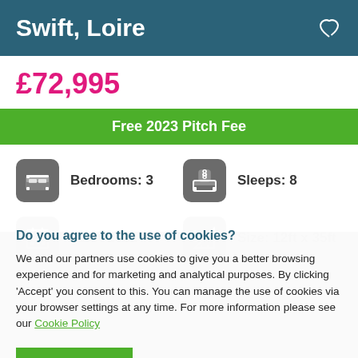Swift, Loire
£72,995
Free 2023 Pitch Fee
Bedrooms: 3
Sleeps: 8
Year: 2022
Size: 12ft x 35ft
Do you agree to the use of cookies?
We and our partners use cookies to give you a better browsing experience and for marketing and analytical purposes. By clicking 'Accept' you consent to this. You can manage the use of cookies via your browser settings at any time. For more information please see our Cookie Policy
ACCEPT